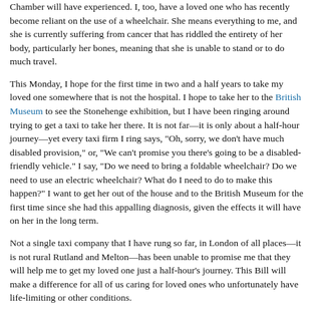Chamber will have experienced. I, too, have a loved one who has recently become reliant on the use of a wheelchair. She means everything to me, and she is currently suffering from cancer that has riddled the entirety of her body, particularly her bones, meaning that she is unable to stand or to do much travel.
This Monday, I hope for the first time in two and a half years to take my loved one somewhere that is not the hospital. I hope to take her to the British Museum to see the Stonehenge exhibition, but I have been ringing around trying to get a taxi to take her there. It is not far—it is only about a half-hour journey—yet every taxi firm I ring says, "Oh, sorry, we don't have much disabled provision," or, "We can't promise you there's going to be a disabled-friendly vehicle." I say, "Do we need to bring a foldable wheelchair? Do we need to use an electric wheelchair? What do I need to do to make this happen?" I want to get her out of the house and to the British Museum for the first time since she had this appalling diagnosis, given the effects it will have on her in the long term.
Not a single taxi company that I have rung so far, in London of all places—it is not rural Rutland and Melton—has been unable to promise me that they will help me to get my loved one just a half-hour's journey. This Bill will make a difference for all of us caring for loved ones who unfortunately have life-limiting or other conditions.